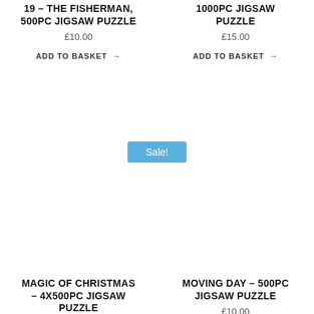19 – THE FISHERMAN, 500PC JIGSAW PUZZLE
£10.00
ADD TO BASKET →
1000PC JIGSAW PUZZLE
£15.00
ADD TO BASKET →
Sale!
MAGIC OF CHRISTMAS – 4X500PC JIGSAW PUZZLE
£23.00 £20.00
MOVING DAY – 500PC JIGSAW PUZZLE
£10.00